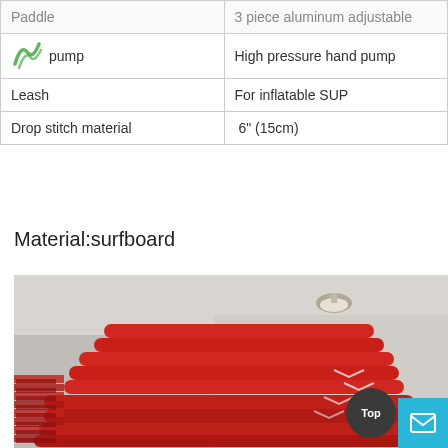| Item | Description |
| --- | --- |
| Paddle | 3 piece aluminum adjustable |
| pump | High pressure hand pump |
| Leash | For inflatable SUP |
| Drop stitch material | 6" (15cm) |
Material:surfboard
[Figure (photo): Stacked red inflatable paddleboards/surfboards in a warehouse or storage facility with industrial ceiling lights visible above.]